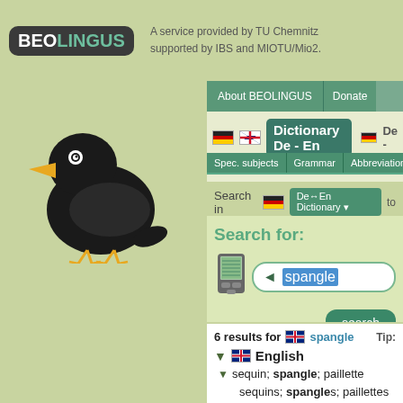BEOLINGUS — A service provided by TU Chemnitz supported by IBS and MIOTU/Mio2.
Dictionary De - En
Spec. subjects | Grammar | Abbreviations | Ra...
Search in [DE flag] De↔En Dictionary ▼ to...
Search for: spangle
6 results for [UK flag] spangle   Tip:
▼ [UK flag] English
▼ sequin; spangle; paillette
sequins; spangles; paillettes
sequined